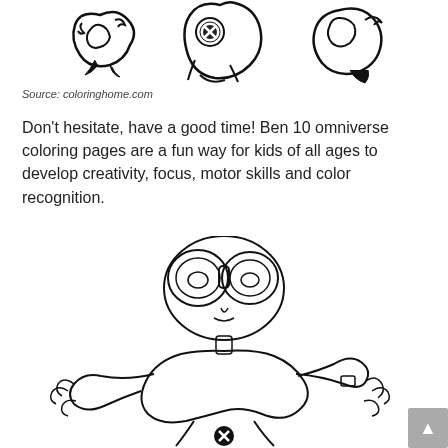[Figure (illustration): Black and white coloring page illustrations of Ben 10 Omniverse alien characters at the top of the page]
Source: coloringhome.com
Don't hesitate, have a good time! Ben 10 omniverse coloring pages are a fun way for kids of all ages to develop creativity, focus, motor skills and color recognition.
[Figure (illustration): Black and white coloring page illustration of a grey alien character (Grey Matter) from Ben 10 Omniverse, shown in a crouching pose with large goggle eyes]